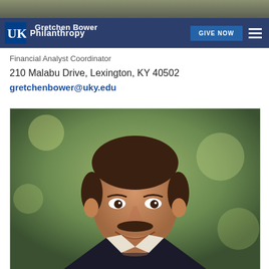[Figure (photo): Top cropped photo background strip]
UK Philanthropy | GIVE NOW
Gretchen Bower
Financial Analyst Coordinator
210 Malabu Drive, Lexington, KY 40502
gretchenbower@uky.edu
[Figure (photo): Professional headshot photo of a middle-aged man with dark hair and mustache, smiling, wearing a dark suit, with blurred green outdoor background]